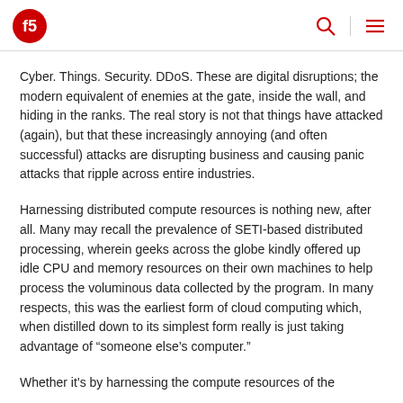F5 logo, search icon, menu icon
Cyber. Things. Security. DDoS. These are digital disruptions; the modern equivalent of enemies at the gate, inside the wall, and hiding in the ranks. The real story is not that things have attacked (again), but that these increasingly annoying (and often successful) attacks are disrupting business and causing panic attacks that ripple across entire industries.
Harnessing distributed compute resources is nothing new, after all. Many may recall the prevalence of SETI-based distributed processing, wherein geeks across the globe kindly offered up idle CPU and memory resources on their own machines to help process the voluminous data collected by the program. In many respects, this was the earliest form of cloud computing which, when distilled down to its simplest form really is just taking advantage of “someone else’s computer.”
Whether it’s by harnessing the compute resources of the